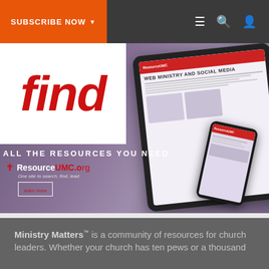SUBSCRIBE NOW ▼
[Figure (screenshot): ResourceUMC.org promotional banner screenshot showing a tablet and phone with 'find ALL THE RESOURCES YOU NEED' text, ResourceUMC.org logo with cross icon, and 'learn more' button. White card overlay with large red italic 'find' text.]
Ministry Matters™ is a community of resources for church leaders. Whether your church has ten pews or a thousand